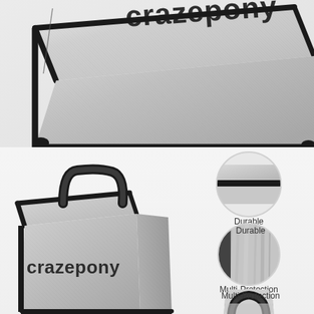[Figure (photo): Close-up top-angle view of a silver/metallic Crazepony fireproof bag with black trim and the brand name 'crazepony' printed on the top face in dark letters. The bag has a textured silver surface with black edge binding.]
[Figure (photo): Bottom section showing: left side - a full view of the Crazepony silver fireproof bag with black handle on top and 'crazepony' logo on the front; right side - three circular close-up detail photos: top circle shows the zipper labeled 'Durable', middle circle shows the silver material texture labeled 'Multi-Protection', bottom circle shows the handle detail.]
Durable
Multi-Protection